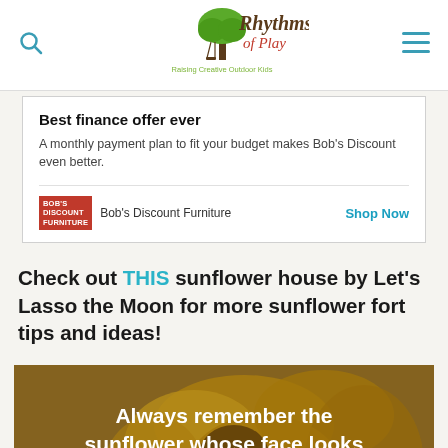Rhythms of Play — Raising Creative Outdoor Kids
Best finance offer ever
A monthly payment plan to fit your budget makes Bob's Discount even better.
Bob's Discount Furniture   Shop Now
Check out THIS sunflower house by Let's Lasso the Moon for more sunflower fort tips and ideas!
[Figure (photo): Close-up photo of a sunflower with orange/yellow petals and dark center, with overlay text: 'Always remember the sunflower whose face looks towards the sun. She drinks his beauty in his face and like']